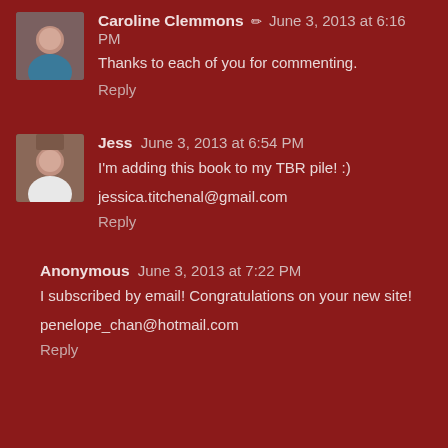[Figure (photo): Avatar photo of Caroline Clemmons, a woman]
Caroline Clemmons ✏ June 3, 2013 at 6:16 PM
Thanks to each of you for commenting.
Reply
[Figure (photo): Avatar photo of Jess, a woman]
Jess June 3, 2013 at 6:54 PM
I'm adding this book to my TBR pile! :)
jessica.titchenal@gmail.com
Reply
Anonymous June 3, 2013 at 7:22 PM
I subscribed by email! Congratulations on your new site!
penelope_chan@hotmail.com
Reply